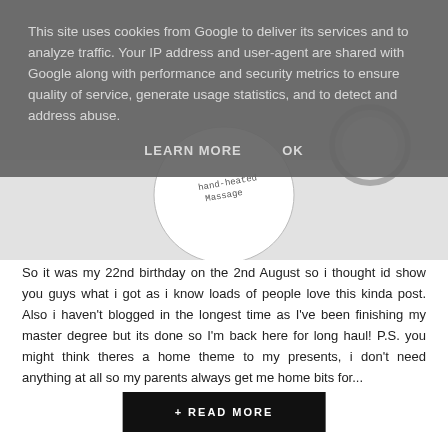[Figure (photo): A photograph showing a white circular plate or label with handwritten text against a light grey/white background, partially cropped]
This site uses cookies from Google to deliver its services and to analyze traffic. Your IP address and user-agent are shared with Google along with performance and security metrics to ensure quality of service, generate usage statistics, and to detect and address abuse.
LEARN MORE   OK
So it was my 22nd birthday on the 2nd August so i thought id show you guys what i got as i know loads of people love this kinda post. Also i haven't blogged in the longest time as I've been finishing my master degree but its done so I'm back here for long haul! P.S. you might think theres a home theme to my presents, i don't need anything at all so my parents always get me home bits for...
+ READ MORE